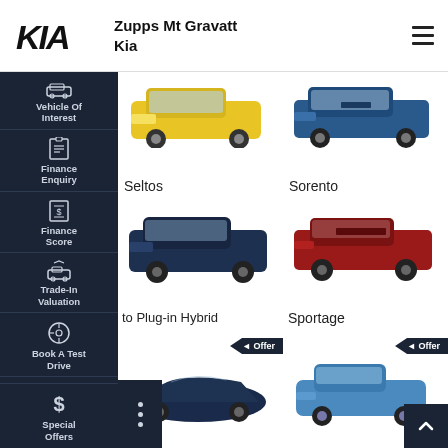[Figure (logo): Kia logo and Zupps Mt Gravatt Kia dealer name with hamburger menu]
Zupps Mt Gravatt Kia
[Figure (screenshot): Sidebar navigation with: Vehicle Of Interest, Finance Enquiry, Finance Score, Trade-In Valuation, Book A Test Drive, Special Offers]
[Figure (photo): Kia Seltos in yellow]
Seltos
[Figure (photo): Kia Sorento in blue]
Sorento
[Figure (photo): Kia Sorento Plug-in Hybrid in dark blue]
to Plug-in Hybrid
[Figure (photo): Kia Sportage in red]
Sportage
[Figure (photo): Kia Stinger in dark blue - with Offer badge]
[Figure (photo): Kia Niro EV in light blue - with Offer badge]